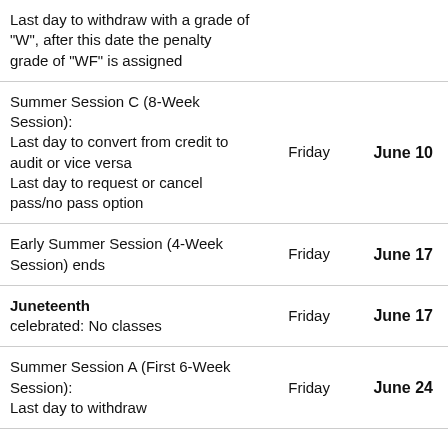| Event | Day | Date |
| --- | --- | --- |
| Last day to withdraw with a grade of "W", after this date the penalty grade of "WF" is assigned |  |  |
| Summer Session C (8-Week Session):
Last day to convert from credit to audit or vice versa
Last day to request or cancel pass/no pass option | Friday | June 10 |
| Early Summer Session (4-Week Session) ends | Friday | June 17 |
| Juneteenth celebrated: No classes | Friday | June 17 |
| Summer Session A (First 6-Week Session):
Last day to withdraw | Friday | June 24 |